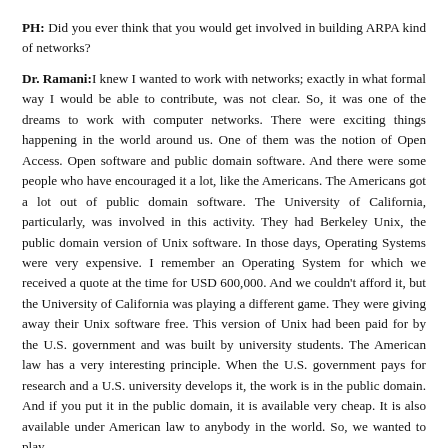PH: Did you ever think that you would get involved in building ARPA kind of networks?
Dr. Ramani: I knew I wanted to work with networks; exactly in what formal way I would be able to contribute, was not clear. So, it was one of the dreams to work with computer networks. There were exciting things happening in the world around us. One of them was the notion of Open Access. Open software and public domain software. And there were some people who have encouraged it a lot, like the Americans. The Americans got a lot out of public domain software. The University of California, particularly, was involved in this activity. They had Berkeley Unix, the public domain version of Unix software. In those days, Operating Systems were very expensive. I remember an Operating System for which we received a quote at the time for USD 600,000. And we couldn't afford it, but the University of California was playing a different game. They were giving away their Unix software free. This version of Unix had been paid for by the U.S. government and was built by university students. The American law has a very interesting principle. When the U.S. government pays for research and a U.S. university develops it, the work is in the public domain. And if you put it in the public domain, it is available very cheap. It is also available under American law to anybody in the world. So, we wanted to play